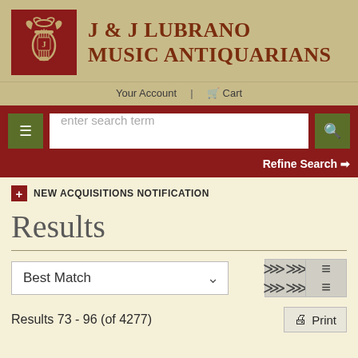[Figure (logo): J & J Lubrano Music Antiquarians logo with dark red background and decorative lyre/harp motif in tan/gold]
J & J LUBRANO MUSIC ANTIQUARIANS
Your Account | Cart
≡  enter search term  🔍  Refine Search ❯
NEW ACQUISITIONS NOTIFICATION
Results
Best Match ∨
Results 73 - 96 (of 4277)
Print